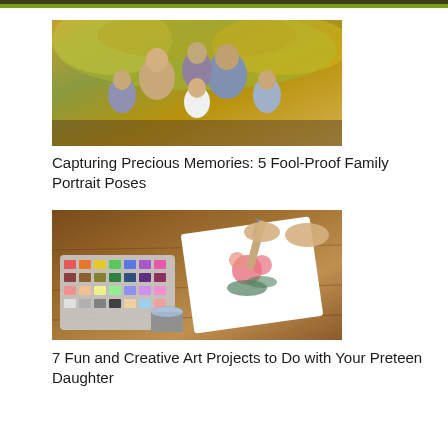[Figure (photo): Family portrait of two parents with four children sitting together outdoors with autumn yellow foliage in the background]
Capturing Precious Memories: 5 Fool-Proof Family Portrait Poses
[Figure (photo): Overhead view of hands painting watercolor flowers on white paper, with a palette of watercolor paints and a small cup of water on a wooden table]
7 Fun and Creative Art Projects to Do with Your Preteen Daughter